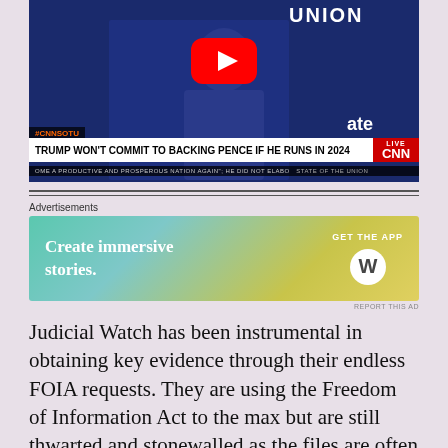[Figure (screenshot): CNN State of the Union video thumbnail showing a man in a suit with YouTube play button overlay and chyron reading 'TRUMP WON'T COMMIT TO BACKING PENCE IF HE RUNS IN 2024'. Chyron also shows #CNNSOTU tag and LIVE CNN logo.]
[Figure (other): Advertisement banner: 'Create immersive stories. GET THE APP' with WordPress logo on a teal-to-yellow gradient background.]
Judicial Watch has been instrumental in obtaining key evidence through their endless FOIA requests. They are using the Freedom of Information Act to the max but are still thwarted and stonewalled as the files are often slow-walked by the SES deep state players.